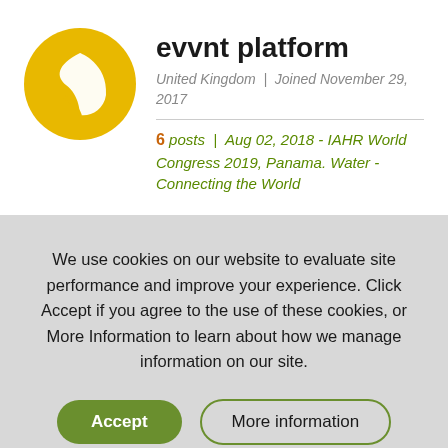[Figure (logo): Yellow circle with white leaf icon — evvnt platform logo]
evvnt platform
United Kingdom | Joined November 29, 2017
6 posts | Aug 02, 2018 - IAHR World Congress 2019, Panama. Water - Connecting the World
We use cookies on our website to evaluate site performance and improve your experience. Click Accept if you agree to the use of these cookies, or More Information to learn about how we manage information on our site.